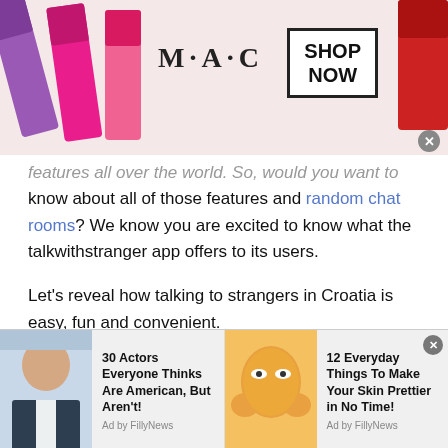[Figure (photo): MAC cosmetics advertisement banner with lipsticks on left and right, MAC logo text in center, SHOP NOW box, and close button]
features all over the world. So, would you want to know about all of those features and random chat rooms? We know you are excited to know what the talkwithstranger app offers to its users.
Let's reveal how talking to strangers in Croatia is easy, fun and convenient.
Online random chat rooms without any registration
[Figure (infographic): Bottom advertisement bar with two sponsored content items: '30 Actors Everyone Thinks Are American, But Aren't! Ad by FillyNews' with a man's photo, and '12 Everyday Things To Make Your Skin Prettier in No Time! Ad by FillyNews' with a woman applying face mask photo]